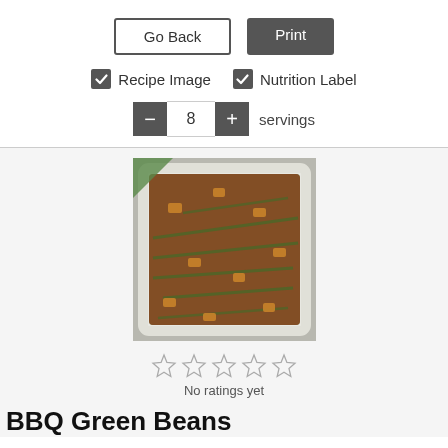Go Back
Print
Recipe Image
Nutrition Label
8 servings
[Figure (photo): A white casserole dish containing BBQ green beans with bacon pieces on top, served on a green checkered cloth.]
No ratings yet
BBQ Green Beans